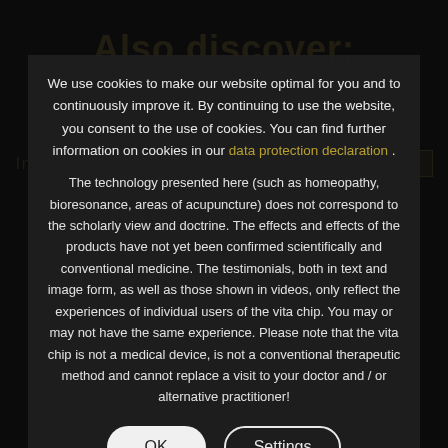We use cookies to make our website optimal for you and to continuously improve it. By continuing to use the website, you consent to the use of cookies. You can find further information on cookies in our data protection declaration .
The technology presented here (such as homeopathy, bioresonance, areas of acupuncture) does not correspond to the scholarly view and doctrine. The effects and effects of the products have not yet been confirmed scientifically and conventional medicine. The testimonials, both in text and image form, as well as those shown in videos, only reflect the experiences of individual users of the vita chip. You may or may not have the same experience. Please note that the vita chip is not a medical device, is not a conventional therapeutic method and cannot replace a visit to your doctor and / or alternative practitioner!